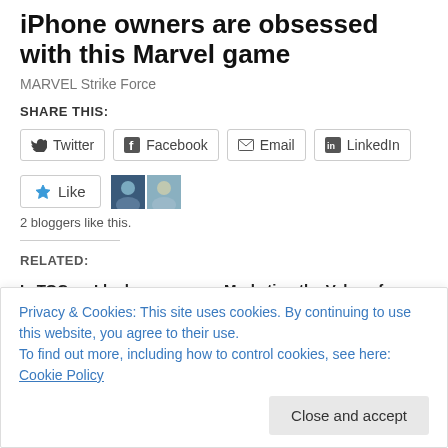iPhone owners are obsessed with this Marvel game
MARVEL Strike Force
SHARE THIS:
Twitter  Facebook  Email  LinkedIn
[Figure (other): Like button with star icon and two blogger avatar photos]
2 bloggers like this.
RELATED:
Is TOC an Ideology or a Pragmatic Approach? Discussing the Pillars of
Marketing the Value of TOC
February 6, 2016
In "business"
Privacy & Cookies: This site uses cookies. By continuing to use this website, you agree to their use.
To find out more, including how to control cookies, see here: Cookie Policy
Close and accept
October 1, 2018